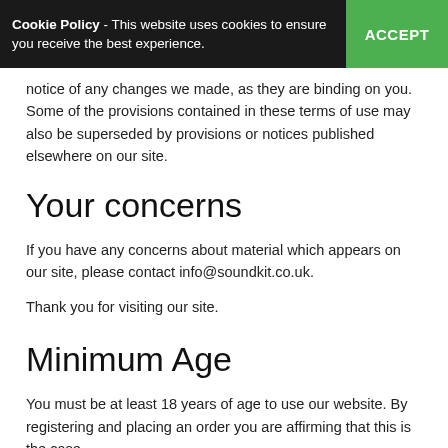Cookie Policy - This website uses cookies to ensure you receive the best experience. ACCEPT
notice of any changes we made, as they are binding on you. Some of the provisions contained in these terms of use may also be superseded by provisions or notices published elsewhere on our site.
Your concerns
If you have any concerns about material which appears on our site, please contact info@soundkit.co.uk.
Thank you for visiting our site.
Minimum Age
You must be at least 18 years of age to use our website. By registering and placing an order you are affirming that this is the case.